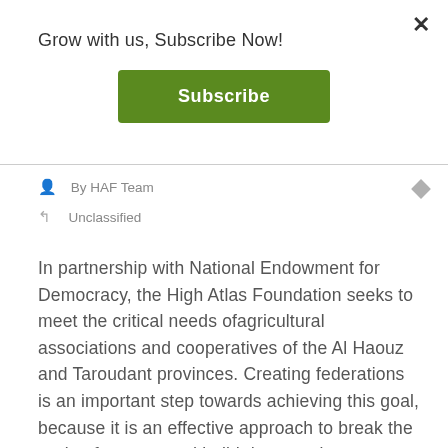Grow with us, Subscribe Now!
[Figure (other): Green Subscribe button]
By HAF Team
Unclassified
In partnership with National Endowment for Democracy, the High Atlas Foundation seeks to meet the critical needs ofagricultural associations and cooperatives of the Al Haouz and Taroudant provinces. Creating federations is an important step towards achieving this goal, because it is an effective approach to break the cycle of poverty and build democratic processes in the